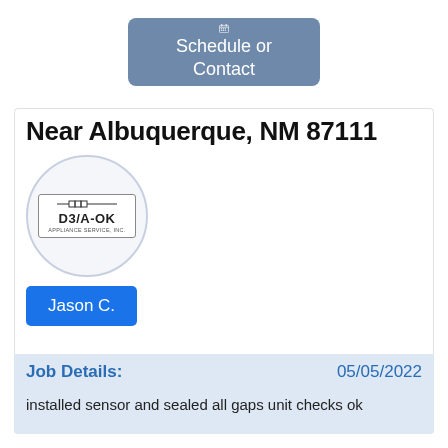[Figure (other): Schedule or Contact button with calendar icon, blue-grey background, white text]
Near Albuquerque, NM 87111
[Figure (logo): D3/A-OK Appliance Service Inc. logo inside a circle, showing company name in a rectangular border with a resistor symbol above]
Jason C.
Job Details:
05/05/2022
installed sensor and sealed all gaps unit checks ok